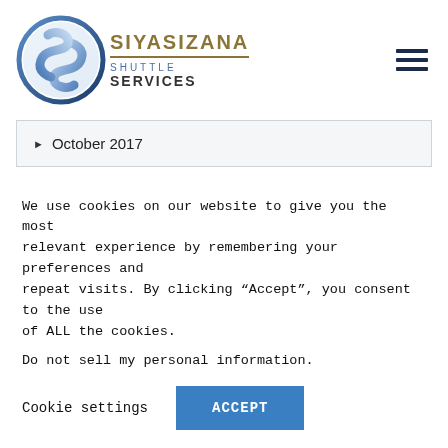[Figure (logo): Siyasizana Shuttle Services logo with circular blue swirl emblem and company name text]
October 2017
We use cookies on our website to give you the most relevant experience by remembering your preferences and repeat visits. By clicking “Accept”, you consent to the use of ALL the cookies.
Do not sell my personal information.
Cookie settings  ACCEPT